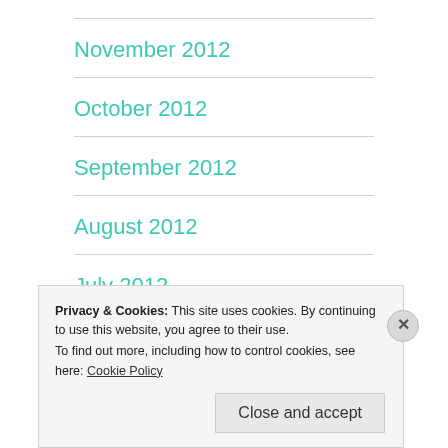November 2012
October 2012
September 2012
August 2012
July 2012
Privacy & Cookies: This site uses cookies. By continuing to use this website, you agree to their use.
To find out more, including how to control cookies, see here: Cookie Policy
Close and accept